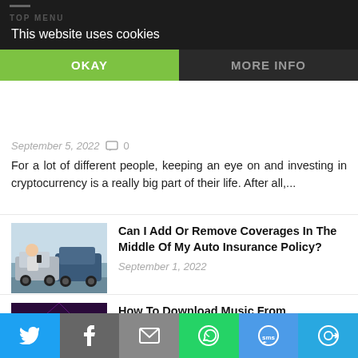This website uses cookies
For a lot of different people, keeping an eye on and investing in cryptocurrency is a really big part of their life. After all,...
Can I Add Or Remove Coverages In The Middle Of My Auto Insurance Policy?
September 1, 2022
How To Download Music From Mp3Juices To Your Mobile – 100% FREE And Easy
August 31, 2022
How Fintech Is Taking Supplier Marketplaces Into New Horizons